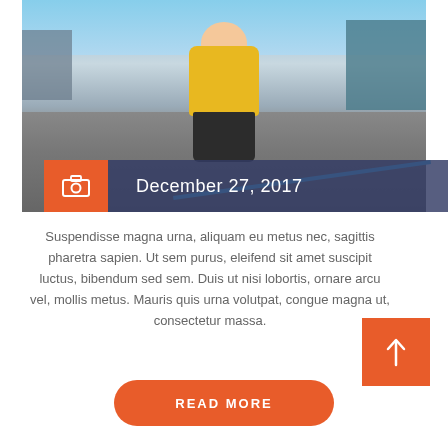[Figure (photo): A young child in a yellow jacket standing on a road/street, with buildings in the background and a blue painted line on the asphalt. Overlaid at the bottom of the photo is a date bar with a camera icon on an orange block and 'December 27, 2017' on a dark navy semi-transparent block.]
Suspendisse magna urna, aliquam eu metus nec, sagittis pharetra sapien. Ut sem purus, eleifend sit amet suscipit luctus, bibendum sed sem. Duis ut nisi lobortis, ornare arcu vel, mollis metus. Mauris quis urna volutpat, congue magna ut, consectetur massa.
READ MORE